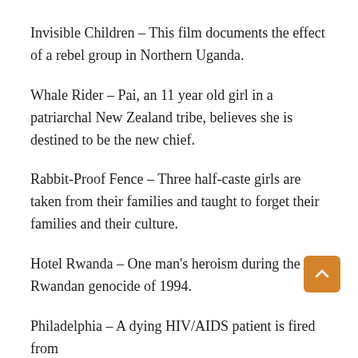Invisible Children – This film documents the effect of a rebel group in Northern Uganda.
Whale Rider – Pai, an 11 year old girl in a patriarchal New Zealand tribe, believes she is destined to be the new chief.
Rabbit-Proof Fence – Three half-caste girls are taken from their families and taught to forget their families and their culture.
Hotel Rwanda – One man's heroism during the Rwandan genocide of 1994.
Philadelphia – A dying HIV/AIDS patient is fired from